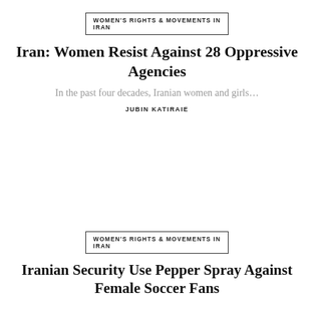WOMEN'S RIGHTS & MOVEMENTS IN IRAN
Iran: Women Resist Against 28 Oppressive Agencies
In the past four decades, Iranian women and girls…
JUBIN KATIRAIE
WOMEN'S RIGHTS & MOVEMENTS IN IRAN
Iranian Security Use Pepper Spray Against Female Soccer Fans